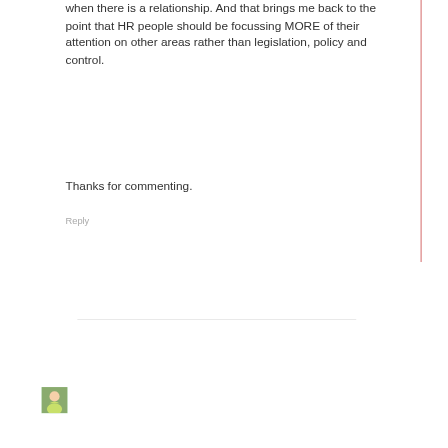when there is a relationship. And that brings me back to the point that HR people should be focussing MORE of their attention on other areas rather than legislation, policy and control.
Thanks for commenting.
Reply
[Figure (photo): Small avatar photo of a person wearing a yellow/green top]